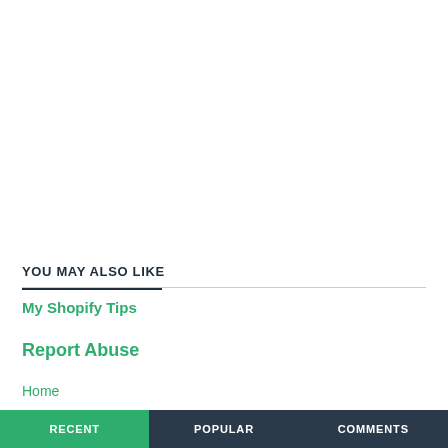YOU MAY ALSO LIKE
My Shopify Tips
Report Abuse
Home
RECENT | POPULAR | COMMENTS